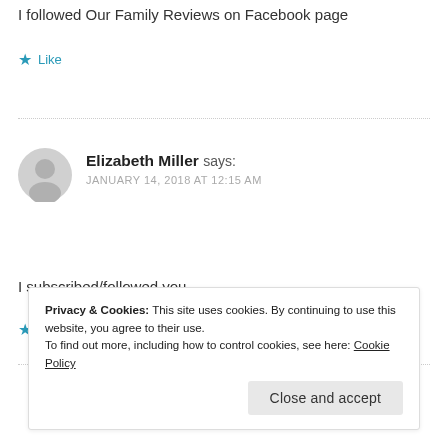I followed Our Family Reviews on Facebook page
★ Like
Elizabeth Miller says: JANUARY 14, 2018 AT 12:15 AM
I subscribed/followed you
★ Like
Privacy & Cookies: This site uses cookies. By continuing to use this website, you agree to their use. To find out more, including how to control cookies, see here: Cookie Policy
Close and accept